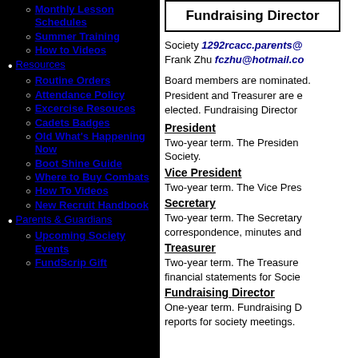Monthly Lesson Schedules
Summer Training
How to Videos
Resources
Routine Orders
Attendance Policy
Excercise Resouces
Cadets Badges
Old What's Happening Now
Boot Shine Guide
Where to Buy Combats
How To Videos
New Recruit Handbook
Parents & Guardians
Upcoming Society Events
FundScrip Gift
Fundraising Director
Society 1292rcacc.parents@ Frank Zhu fczhu@hotmail.co
Board members are nominated. President and Treasurer are elected. Fundraising Director
President
Two-year term. The President Society.
Vice President
Two-year term. The Vice Pres
Secretary
Two-year term. The Secretary correspondence, minutes and
Treasurer
Two-year term. The Treasure financial statements for Socie
Fundraising Director
One-year term. Fundraising D reports for society meetings.